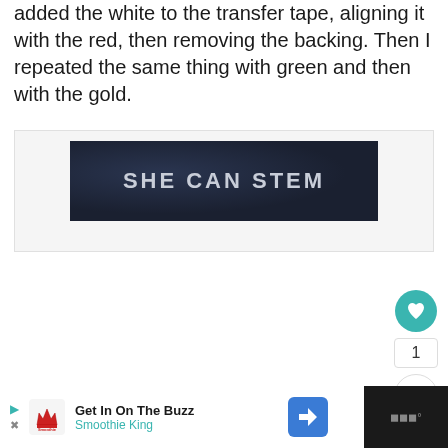added the white to the transfer tape, aligning it with the red, then removing the backing. Then I repeated the same thing with green and then with the gold.
[Figure (screenshot): Dark navy banner image with bold white/light gray text reading 'SHE CAN STEM' in large capital letters, with a textured dark background]
[Figure (screenshot): Advertisement bar at bottom: white area with Smoothie King logo, play and close buttons, text 'Get In On The Buzz' and 'Smoothie King', a blue navigation arrow button, and a dark right panel with a weather icon]